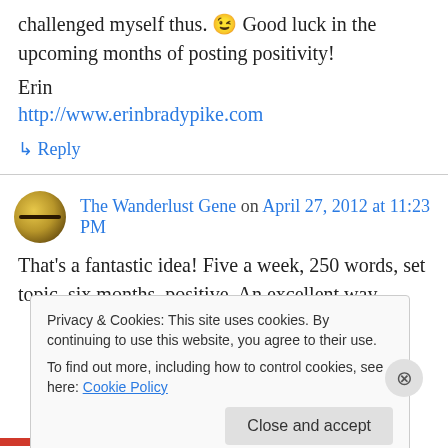challenged myself thus. 😉 Good luck in the upcoming months of posting positivity!
Erin
http://www.erinbradypike.com
↳ Reply
The Wanderlust Gene on April 27, 2012 at 11:23 PM
That's a fantastic idea! Five a week, 250 words, set topic, six months, positive. An excellent way
Privacy & Cookies: This site uses cookies. By continuing to use this website, you agree to their use. To find out more, including how to control cookies, see here: Cookie Policy
Close and accept